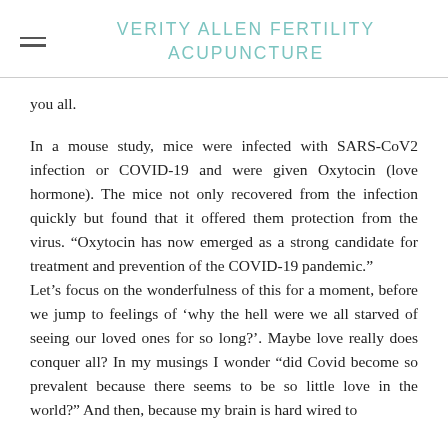VERITY ALLEN FERTILITY ACUPUNCTURE
you all.
In a mouse study, mice were infected with SARS-CoV2 infection or COVID-19 and were given Oxytocin (love hormone). The mice not only recovered from the infection quickly but found that it offered them protection from the virus. "Oxytocin has now emerged as a strong candidate for treatment and prevention of the COVID-19 pandemic."
Let’s focus on the wonderfulness of this for a moment, before we jump to feelings of ‘why the hell were we all starved of seeing our loved ones for so long?’. Maybe love really does conquer all? In my musings I wonder “did Covid become so prevalent because there seems to be so little love in the world?” And then, because my brain is hard wired to